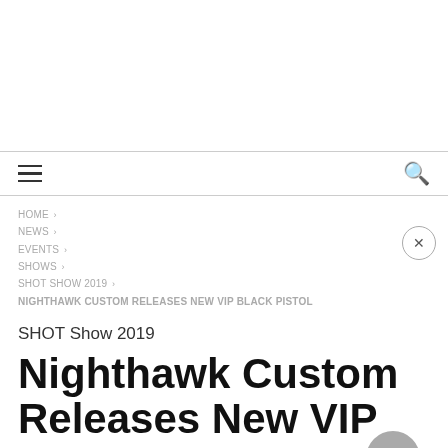HOME › NEWS › EVENTS › SHOWS › SHOT SHOW 2019 › NIGHTHAWK CUSTOM RELEASES NEW VIP BLACK PISTOL
SHOT Show 2019
Nighthawk Custom Releases New VIP BLACK